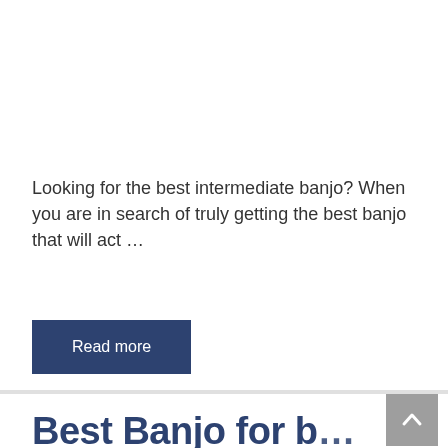Looking for the best intermediate banjo? When you are in search of truly getting the best banjo that will act …
Read more
Best Banjo for b…